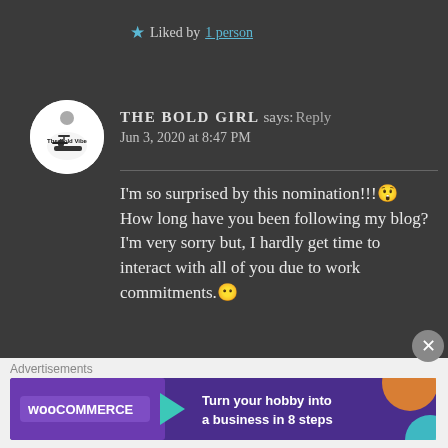★ Liked by 1 person
THE BOLD GIRL says:Reply
Jun 3, 2020 at 8:47 PM
I'm so surprised by this nomination!!!😱 How long have you been following my blog?
I'm very sorry but, I hardly get time to interact with all of you due to work commitments.😶
[Figure (screenshot): WooCommerce advertisement banner: 'Turn your hobby into a business in 8 steps']